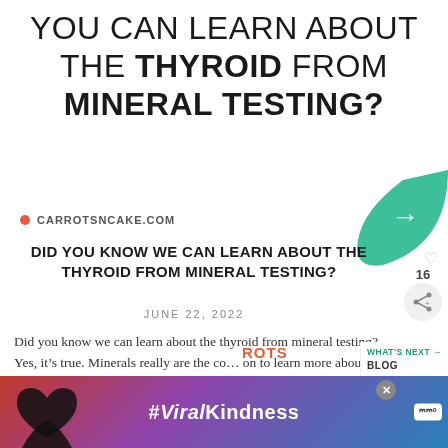YOU CAN LEARN ABOUT THE THYROID FROM MINERAL TESTING?
CARROTSNCAKE.COM
DID YOU KNOW WE CAN LEARN ABOUT THE THYROID FROM MINERAL TESTING?
JUNE 22, 2022
Did you know we can learn about the thyroid from mineral testing? Yes, it's true. Minerals really are the co... on to learn more about the thyroid and mineral testing! One
[Figure (infographic): Green leaf-shaped share button with white arrow, and circular heart/like icon overlay]
[Figure (infographic): Advertisement banner with hands forming heart shape silhouette, #ViralKindness hashtag text on colorful gradient background, close button X, and logo icon]